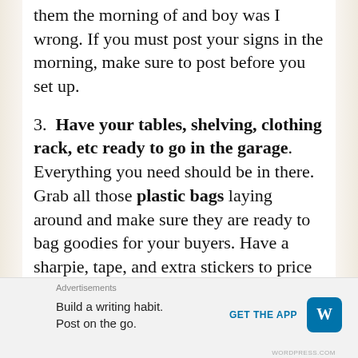them the morning of and boy was I wrong. If you must post your signs in the morning, make sure to post before you set up.
3. Have your tables, shelving, clothing rack, etc ready to go in the garage. Everything you need should be in there. Grab all those plastic bags laying around and make sure they are ready to bag goodies for your buyers. Have a sharpie, tape, and extra stickers to price or highlight anything that
Advertisements
Build a writing habit. Post on the go.
GET THE APP